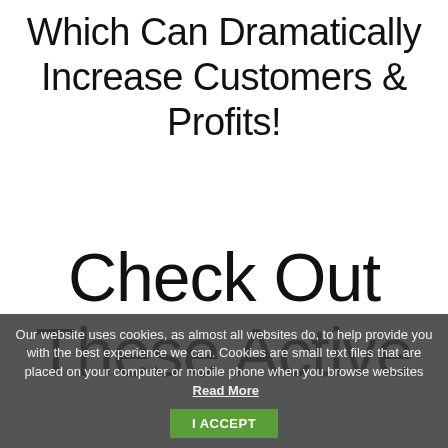Which Can Dramatically Increase Customers & Profits!
Check Out These Active Casinos Monthly
Our website uses cookies, as almost all websites do, to help provide you with the best experience we can. Cookies are small text files that are placed on your computer or mobile phone when you browse websites Read More I ACCEPT